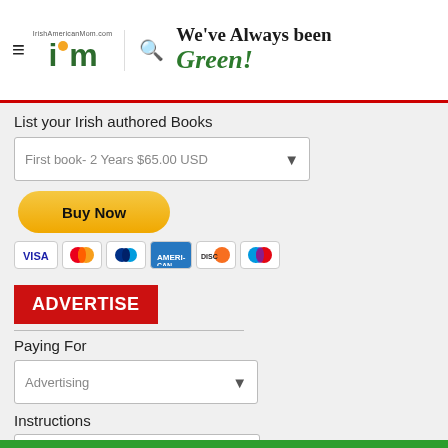IrishAmericanMom.com – We've Always been Green!
List your Irish authored Books
First book- 2 Years $65.00 USD
[Figure (other): Buy Now button with PayPal styling and credit card icons (VISA, Mastercard, PayPal, Amex, Discover, Maestro)]
ADVERTISE
Paying For
Advertising
Instructions
[Figure (other): Buy Now button with PayPal styling and credit card icons (VISA, Mastercard, PayPal, Amex, Discover, Maestro)]